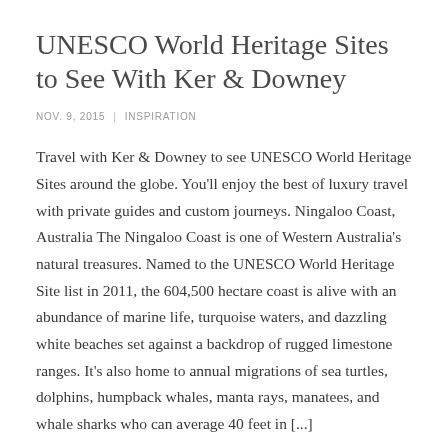UNESCO World Heritage Sites to See With Ker & Downey
NOV. 9, 2015  |  INSPIRATION
Travel with Ker & Downey to see UNESCO World Heritage Sites around the globe. You'll enjoy the best of luxury travel with private guides and custom journeys. Ningaloo Coast, Australia The Ningaloo Coast is one of Western Australia's natural treasures. Named to the UNESCO World Heritage Site list in 2011, the 604,500 hectare coast is alive with an abundance of marine life, turquoise waters, and dazzling white beaches set against a backdrop of rugged limestone ranges. It's also home to annual migrations of sea turtles, dolphins, humpback whales, manta rays, manatees, and whale sharks who can average 40 feet in [...]